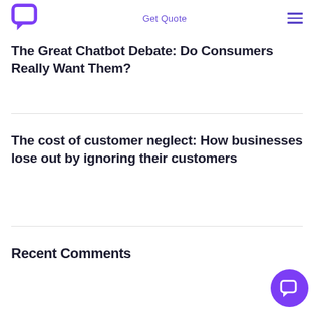Get Quote
The Great Chatbot Debate: Do Consumers Really Want Them?
The cost of customer neglect: How businesses lose out by ignoring their customers
Recent Comments